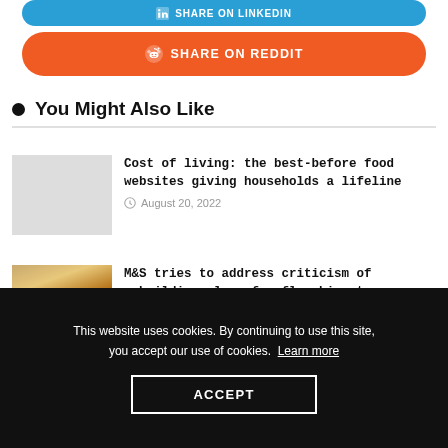[Figure (other): Share on LinkedIn button (blue rounded rectangle)]
[Figure (other): Share on Reddit button (orange rounded rectangle with Reddit logo)]
You Might Also Like
Cost of living: the best-before food websites giving households a lifeline
August 20, 2022
[Figure (photo): Photo of M&S flagship store building exterior at dusk]
M&S tries to address criticism of rebuilding plans for flagship store
August 19, 2022
This website uses cookies. By continuing to use this site, you accept our use of cookies.  Learn more
ACCEPT